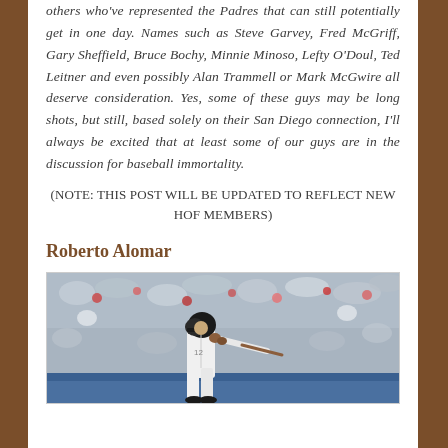others who've represented the Padres that can still potentially get in one day. Names such as Steve Garvey, Fred McGriff, Gary Sheffield, Bruce Bochy, Minnie Minoso, Lefty O'Doul, Ted Leitner and even possibly Alan Trammell or Mark McGwire all deserve consideration. Yes, some of these guys may be long shots, but still, based solely on their San Diego connection, I'll always be excited that at least some of our guys are in the discussion for baseball immortality.
(NOTE: THIS POST WILL BE UPDATED TO REFLECT NEW HOF MEMBERS)
Roberto Alomar
[Figure (photo): Roberto Alomar batting, crowd visible in background, wearing white uniform and black helmet]